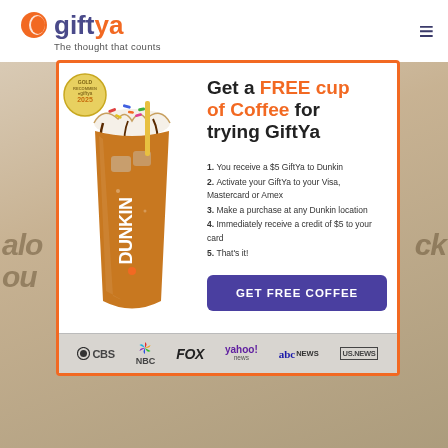[Figure (logo): GiftYa logo with orange circle icon and text 'gift' in navy and 'ya' in orange, tagline 'The thought that counts']
[Figure (infographic): GiftYa promotional popup modal with Dunkin branded iced coffee cup, headline 'Get a FREE cup of Coffee for trying GiftYa', five numbered steps, and GET FREE COFFEE CTA button. Media bar with CBS, NBC, FOX, Yahoo News, abc NEWS, US.NEWS logos at bottom.]
Get a FREE cup of Coffee for trying GiftYa
You receive a $5 GiftYa to Dunkin
Activate your GiftYa to your Visa, Mastercard or Amex
Make a purchase at any Dunkin location
Immediately receive a credit of $5 to your card
That's it!